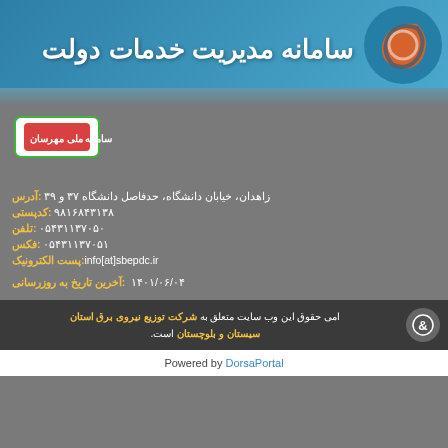[Figure (logo): Government services management system banner with blue background, Persian title text and circular logo]
[Figure (logo): Red box with white Persian text reading samane meli mehrsan inside green border]
آدرس: زاهدان، خیابان دانشگاه، حدفاصل دانشگاه ۳۷ و ۳۹
کدپستی: ۹۸۱۶۸۴۳۱۳۸
تلفن: ۰۵۴۳۱۱۳۷۰۵۰
فکس: ۰۵۴۳۱۱۳۷۰۵۱
پست الکترونیک: info[at]sbepdc.ir
آخرین تاریخ به روزرسانی: ۱۴۰۱/۰۶/۰۴
امی حقوق این وب سایت متعلق به شرکت توزیع نیروی برق استان سیستان و بلوچستان است.
Powered by DorsaPortal